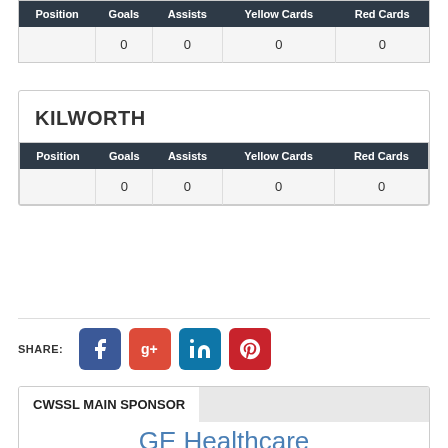| Position | Goals | Assists | Yellow Cards | Red Cards |
| --- | --- | --- | --- | --- |
|  | 0 | 0 | 0 | 0 |
KILWORTH
| Position | Goals | Assists | Yellow Cards | Red Cards |
| --- | --- | --- | --- | --- |
|  | 0 | 0 | 0 | 0 |
SHARE:
[Figure (infographic): Social media sharing icons: Facebook, Google+, LinkedIn, Pinterest]
CWSSL MAIN SPONSOR
GE Healthcare